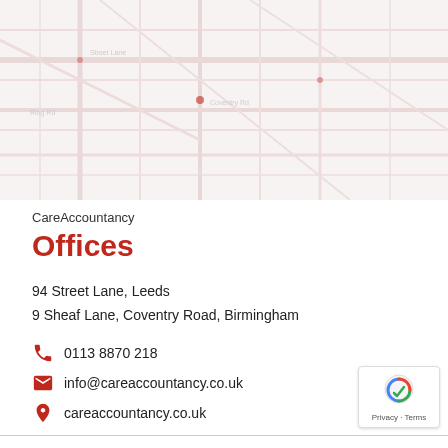[Figure (map): Faded map background showing street layout, used as decorative header background]
CareAccountancy
Offices
94 Street Lane, Leeds
9 Sheaf Lane, Coventry Road, Birmingham
0113 8870 218
info@careaccountancy.co.uk
careaccountancy.co.uk